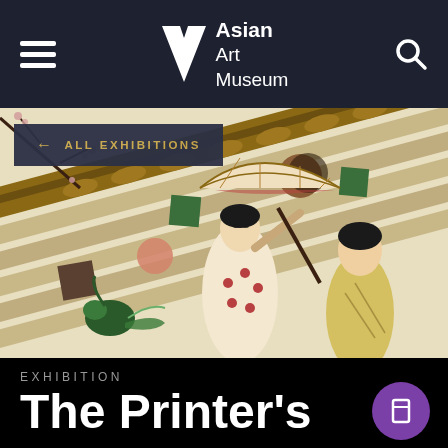Asian Art Museum
[Figure (illustration): Japanese woodblock-style artwork showing two women in kimonos holding a parasol, walking along a tiled rooftop/wall with decorative geometric shapes, moons, and cherry blossom branches. The image is photographed at an angle.]
← ALL EXHIBITIONS
EXHIBITION
The Printer's